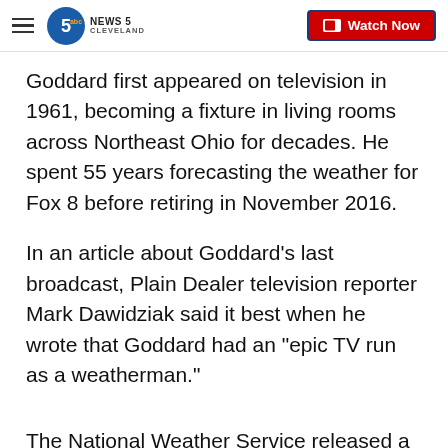NEWS 5 CLEVELAND | Watch Now
Goddard first appeared on television in 1961, becoming a fixture in living rooms across Northeast Ohio for decades. He spent 55 years forecasting the weather for Fox 8 before retiring in November 2016.
In an article about Goddard's last broadcast, Plain Dealer television reporter Mark Dawidziak said it best when he wrote that Goddard had an "epic TV run as a weatherman."
The National Weather Service released a statement following the death of Goddard.